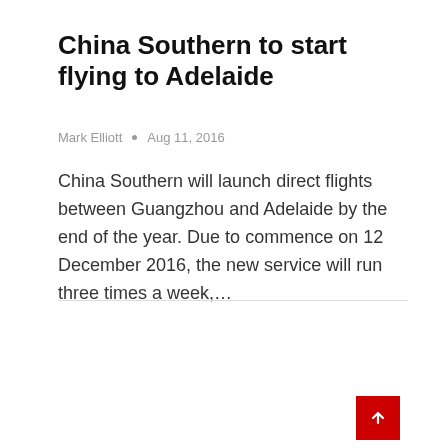China Southern to start flying to Adelaide
Mark Elliott • Aug 11, 2016
China Southern will launch direct flights between Guangzhou and Adelaide by the end of the year. Due to commence on 12 December 2016, the new service will run three times a week,…
[Figure (other): Gray placeholder box below a horizontal divider line, with a red back-to-top button in the bottom right corner containing a white upward arrow.]